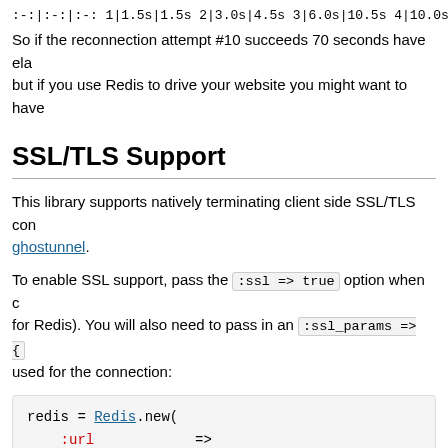:-:|:-:|:-: 1|1.5s|1.5s 2|3.0s|4.5s 3|6.0s|10.5s 4|10.0s|20.5s 5|10.0s...
So if the reconnection attempt #10 succeeds 70 seconds have ela... but if you use Redis to drive your website you might want to have...
SSL/TLS Support
This library supports natively terminating client side SSL/TLS con... ghostunnel.
To enable SSL support, pass the :ssl => true option when c... for Redis). You will also need to pass in an :ssl_params => {... used for the connection:
redis = Redis.new(
  :url           => "rediss://:p4ssw0rd@10.0.1.1:6"
  :ssl_params => {
    :ca_file => "/path/to/ca.crt"
  }
)